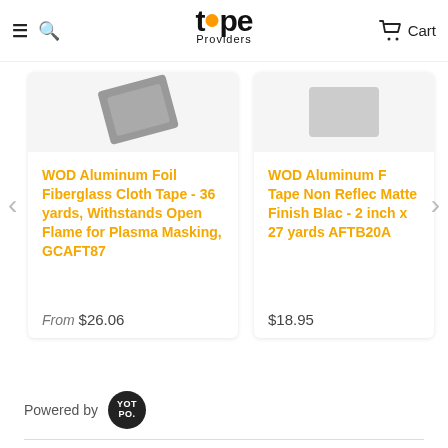[Figure (logo): Tape Providers logo with orange dot in the word 'tape' and cart icon]
WOD Aluminum Foil Fiberglass Cloth Tape - 36 yards, Withstands Open Flame for Plasma Masking, GCAFT87
From $26.06
WOD Aluminum F Tape Non Reflec Matte Finish Blac - 2 inch x 27 yards AFTB20A
$18.95
Powered by YOTPO.